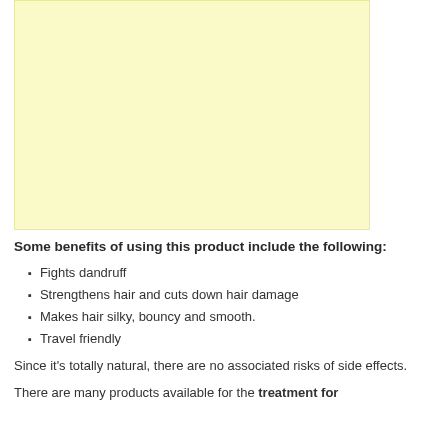[Figure (other): A light yellow rectangular advertisement or image placeholder box]
Some benefits of using this product include the following:
Fights dandruff
Strengthens hair and cuts down hair damage
Makes hair silky, bouncy and smooth.
Travel friendly
Since it's totally natural, there are no associated risks of side effects.
There are many products available for the treatment for dandruff…